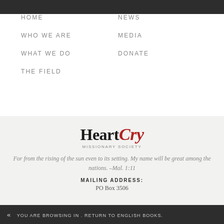HOME
NEWS
WHO WE ARE
MEDIA
WHAT WE DO
DONATE
THE FIELD
[Figure (logo): HeartCry Missionary Society logo — 'Heart' in bold serif black, 'Cry' in bold italic red, 'MISSIONARY SOCIETY' in small caps below]
For from the rising of the sun even to its setting. My name will be great among the nations. –Mal. 1:11
MAILING ADDRESS:
PO Box 3506
« YOU ARE BROWSING IN . RETURN TO ENGLISH BOOKS.